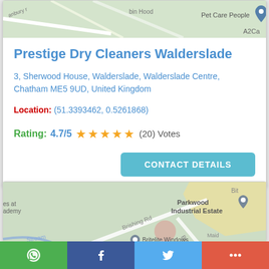[Figure (map): Google Maps partial view showing Pet Care People location with A2Ca label, roads including bin Hood street]
Prestige Dry Cleaners Walderslade
3, Sherwood House, Walderslade, Walderslade Centre, Chatham ME5 9UD, United Kingdom
Location: (51.3393462, 0.5261868)
Rating: 4.7/5 ★★★★★ (20) Votes
[Figure (map): Google Maps partial view showing Parkwood Industrial Estate, Britelite Windows, Brishing Rd, Stream and surrounding area]
WhatsApp | Facebook | Twitter | More